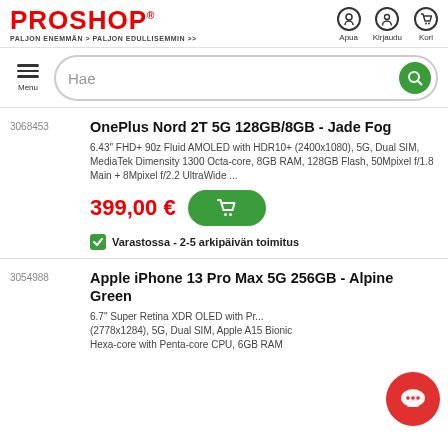[Figure (logo): Proshop logo with tagline PALJON ENEMMÄN > PALJON EDULLISEMMIN. Header icons: Apua (headset), Kirjaudu (user), Kori (cart).]
[Figure (screenshot): Search bar with hamburger Menu button on left, Hae placeholder text, and green search button on right.]
3068453
OnePlus Nord 2T 5G 128GB/8GB - Jade Fog
6.43" FHD+ 90z Fluid AMOLED with HDR10+ (2400x1080), 5G, Dual SIM, MediaTek Dimensity 1300 Octa-core, 8GB RAM, 128GB Flash, 50Mpixel f/1.8 Main + 8Mpixel f/2.2 UltraWide ...
399,00 €
Varastossa - 2-5 arkipäivän toimitus
3054988
Apple iPhone 13 Pro Max 5G 256GB - Alpine Green
6.7" Super Retina XDR OLED with Pr... (2778x1284), 5G, Dual SIM, Apple A15 Bionic Hexa-core with Penta-core CPU, 6GB RAM